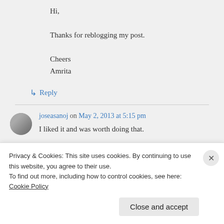Hi,

Thanks for reblogging my post.

Cheers
Amrita
↳ Reply
joseasanoj on May 2, 2013 at 5:15 pm
I liked it and was worth doing that.

Happy weekend
Privacy & Cookies: This site uses cookies. By continuing to use this website, you agree to their use.
To find out more, including how to control cookies, see here: Cookie Policy